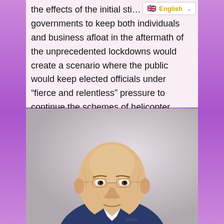the effects of the initial sti… governments to keep both individuals and business afloat in the aftermath of the unprecedented lockdowns would create a scenario where the public would keep elected officials under “fierce and relentless” pressure to continue the schemes of helicopter money well into the future.
[Figure (photo): Photograph of an elderly bald man wearing glasses and a blue suit, speaking or gesturing, against a light background.]